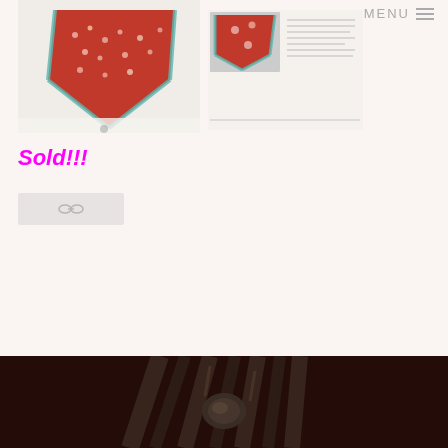MENU
[Figure (photo): Two photos of a red floral patterned triangular scarf/bandana with teal trim, shown folded and in use, alongside a book or catalog page showing the same item]
Sold!!!
[Figure (other): Share/link icon button placeholder with chain link icon on light grey background]
[Figure (photo): Dark moody photograph of what appears to be leather straps or harness components with metal rings, bottom portion visible]